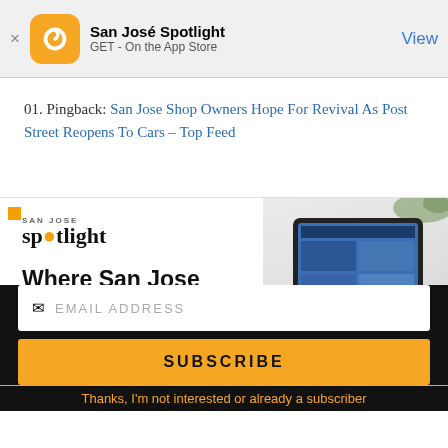San José Spotlight – GET - On the App Store – View
01. Pingback: San Jose Shop Owners Hope For Revival As Post Street Reopens To Cars – Top Feed
[Figure (screenshot): San Jose Spotlight advertisement banner showing logo, headline 'Where San Jose locals start the day.' and sanjosespotlight.com URL, with a tablet image on the right]
EMAIL ADDRESS
SUBSCRIBE
Thanks, I'm not interested or already a subscriber